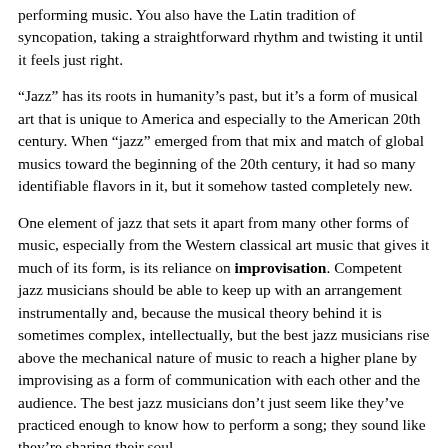performing music. You also have the Latin tradition of syncopation, taking a straightforward rhythm and twisting it until it feels just right.
“Jazz” has its roots in humanity’s past, but it’s a form of musical art that is unique to America and especially to the American 20th century. When “jazz” emerged from that mix and match of global musics toward the beginning of the 20th century, it had so many identifiable flavors in it, but it somehow tasted completely new.
One element of jazz that sets it apart from many other forms of music, especially from the Western classical art music that gives it much of its form, is its reliance on improvisation. Competent jazz musicians should be able to keep up with an arrangement instrumentally and, because the musical theory behind it is sometimes complex, intellectually, but the best jazz musicians rise above the mechanical nature of music to reach a higher plane by improvising as a form of communication with each other and the audience. The best jazz musicians don’t just seem like they’ve practiced enough to know how to perform a song; they sound like they’re sharing their soul.